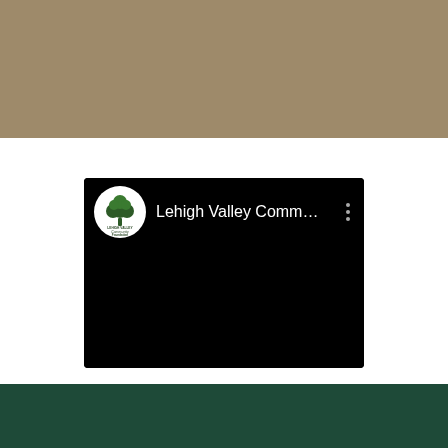[Figure (screenshot): A YouTube/video platform card showing the Lehigh Valley Community Foundation channel. The card has a black background with a white circular logo featuring a green tree and text 'Lehigh Valley Community Foundation', the channel name truncated as 'Lehigh Valley Comm...' in white text, and a three-dot menu icon on the right. The page has a tan/khaki bar at the top and a dark green bar at the bottom.]